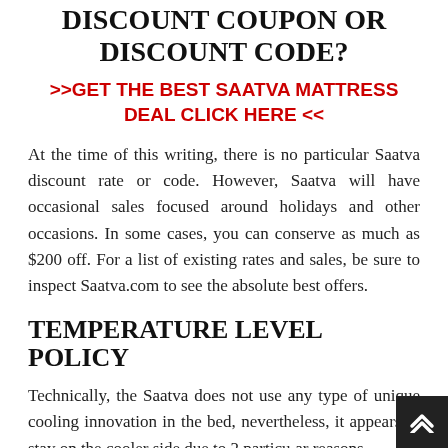DISCOUNT COUPON OR DISCOUNT CODE?
>>GET THE BEST SAATVA MATTRESS DEAL CLICK HERE <<
At the time of this writing, there is no particular Saatva discount rate or code. However, Saatva will have occasional sales focused around holidays and other occasions. In some cases, you can conserve as much as $200 off. For a list of existing rates and sales, be sure to inspect Saatva.com to see the absolute best offers.
TEMPERATURE LEVEL POLICY
Technically, the Saatva does not use any type of unique cooling innovation in the bed, nevertheless, it appears to stay on the cooler side due to 2 particular reasons.